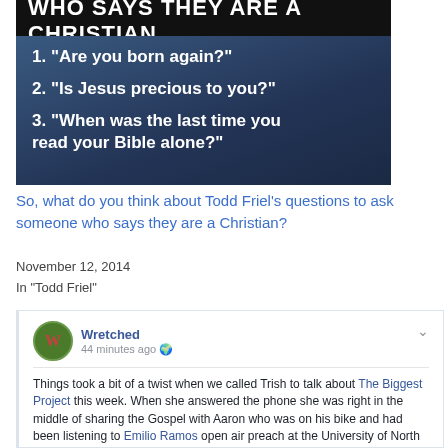[Figure (screenshot): Dark blue background image with white bold text listing three questions: 1. Are you born again? 2. Is Jesus precious to you? 3. When was the last time you read your Bible alone?]
So, what do you think about Todd Friel’s questions to ask someone who says they are a Christian?
November 12, 2014
In “Todd Friel”
[Figure (screenshot): Facebook post by Wretched, 44 minutes ago. Text: Things took a bit of a twist when we called Trish to talk about The Biggest Project this week. When she answered the phone she was right in the middle of sharing the Gospel with Aaron who was on his bike and had been listening to Emilio Ramos open air preach at the University of North Texas campus. So we had Trish kindly pass the phone to Todd to have a chat with Aaron about how he could be forgiven of his sins and find everlasting life. Please pray for Aaron.]